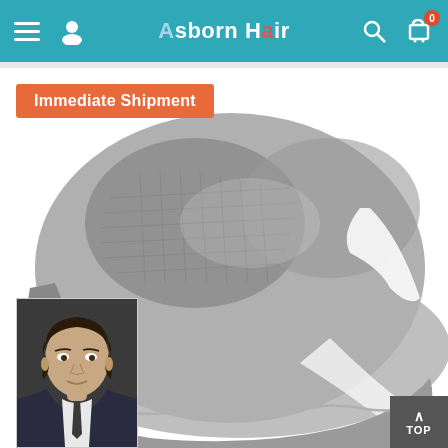Asborn Hair - navigation bar with hamburger menu, user icon, search, and cart (0 items)
[Figure (screenshot): E-commerce website screenshot showing the Asborn Hair store header with teal navigation bar containing hamburger menu, user profile icon, 'Asborn Hair' logo in center, search icon, and shopping cart icon with '0' badge. Below the header is a product image of a gray hair toupee/wig cap shown from above, with an 'Immediate Shipment' orange badge label. In the bottom left corner is a small inset photo of a dark-haired man in a suit (style reference photo). In the bottom right corner is a gray 'TOP' navigation button with an up caret.]